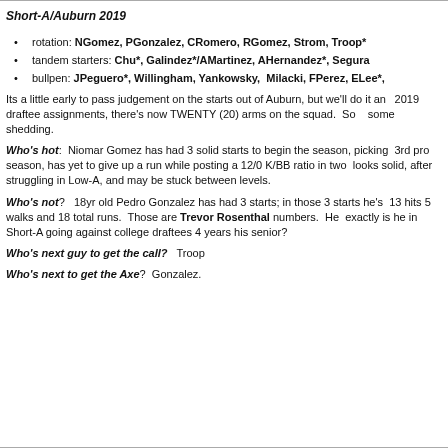Short-A/Auburn 2019
rotation: NGomez, PGonzalez, CRomero, RGomez, Strom, Troop*
tandem starters: Chu*, Galindez*/AMartinez, AHernandez*, Segura
bullpen: JPeguero*, Willingham, Yankowsky, Milacki, FPerez, ELee*,
Its a little early to pass judgement on the starts out of Auburn, but we'll do it anyway. With 2019 draftee assignments, there's now TWENTY (20) arms on the squad. So there will be some shedding.
Who's hot: Niomar Gomez has had 3 solid starts to begin the season, picking up where he left off. 3rd pro season, has yet to give up a run while posting a 12/0 K/BB ratio in two starts. Strom also looks solid, after struggling in Low-A, and may be stuck between levels.
Who's not? 18yr old Pedro Gonzalez has had 3 starts; in those 3 starts he's given up 13 hits 5 walks and 18 total runs. Those are Trevor Rosenthal numbers. He's 18 though, why exactly is he in Short-A going against college draftees 4 years his senior?
Who's next guy to get the call? Troop
Who's next to get the Axe? Gonzalez.